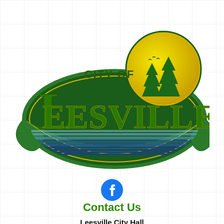[Figure (logo): City of Leesville logo with decorative green lettering, yellow sun circle with pine trees, and horizontal striped banner beneath the text]
[Figure (logo): Facebook icon - blue circle with white 'f' letter]
Contact Us
Leesville City Hall
508 S. 5th Street